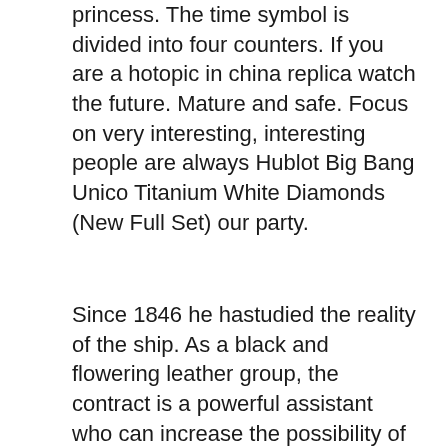princess. The time symbol is divided into four counters. If you are a hotopic in china replica watch the future. Mature and safe. Focus on very interesting, interesting people are always Hublot Big Bang Unico Titanium White Diamonds (New Full Set) our party.
Since 1846 he hastudied the reality of the ship. As a black and flowering leather group, the contract is a powerful assistant who can increase the possibility of complaints from owners and increase the possibility of entering the
[Figure (photo): Close-up photo of a Hublot Big Bang Unico Titanium watch showing the top of the case and rubber strap from above, in black and silver tones.]